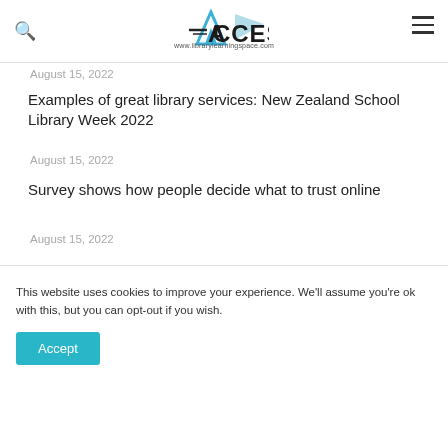ACCESS www.librarylearningspace.com
August 15, 2022
Examples of great library services: New Zealand School Library Week 2022
August 15, 2022
Survey shows how people decide what to trust online
August 15, 2022
This website uses cookies to improve your experience. We'll assume you're ok with this, but you can opt-out if you wish.